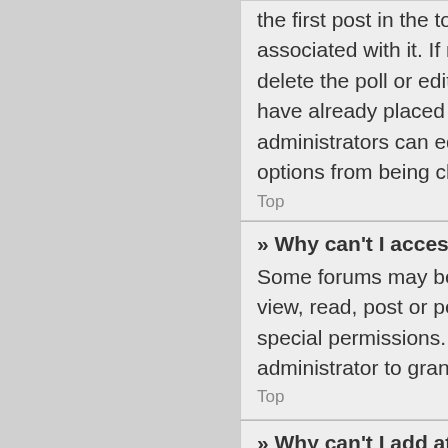the first post in the topic; this always has the poll associated with it. If no one has cast a vote, users can delete the poll or edit any poll option. However, if members have already placed votes, only moderators or administrators can edit or delete it. This prevents the poll's options from being changed mid-way through a poll.
Top
» Why can't I access a forum?
Some forums may be limited to certain users or groups. To view, read, post or perform another action you may need special permissions. Contact a moderator or board administrator to grant you access.
Top
» Why can't I add attachments?
Attachment permissions are granted on a per forum, per group, or per user basis. The board administrator may not have allowed attachments to be added for the specific forum you are posting in.